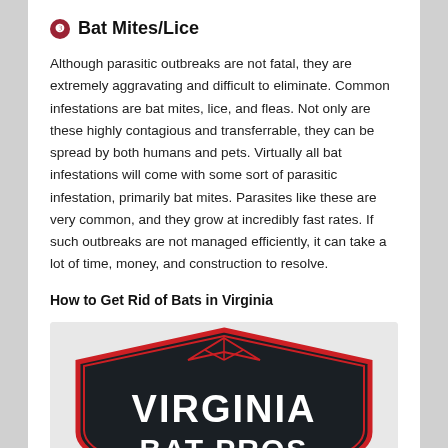❸ Bat Mites/Lice
Although parasitic outbreaks are not fatal, they are extremely aggravating and difficult to eliminate. Common infestations are bat mites, lice, and fleas. Not only are these highly contagious and transferrable, they can be spread by both humans and pets. Virtually all bat infestations will come with some sort of parasitic infestation, primarily bat mites. Parasites like these are very common, and they grow at incredibly fast rates. If such outbreaks are not managed efficiently, it can take a lot of time, money, and construction to resolve.
How to Get Rid of Bats in Virginia
[Figure (logo): Virginia Bat Pros logo — shield shape with dark background, red outline, white text reading VIRGINIA BAT PROS with a house/roof graphic at the top]